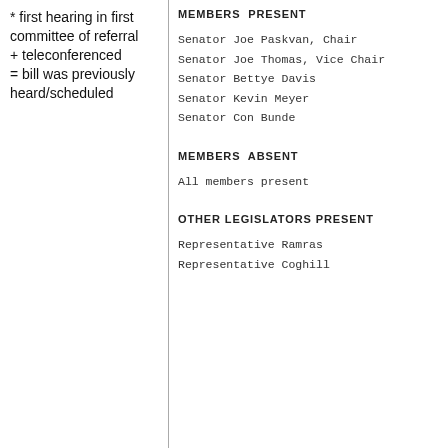* first hearing in first committee of referral
+ teleconferenced
= bill was previously heard/scheduled
MEMBERS PRESENT
Senator Joe Paskvan, Chair
Senator Joe Thomas, Vice Chair
Senator Bettye Davis
Senator Kevin Meyer
Senator Con Bunde
MEMBERS ABSENT
All members present
OTHER LEGISLATORS PRESENT
Representative Ramras
Representative Coghill